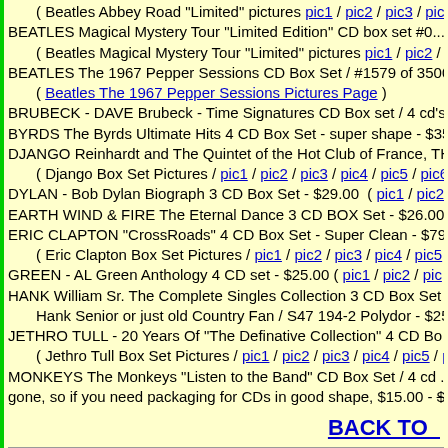( Beatles Abbey Road "Limited" pictures pic1 / pic2 / pic3 / pic4
BEATLES Magical Mystery Tour "Limited Edition" CD box set #0...
( Beatles Magical Mystery Tour "Limited" pictures pic1 / pic2 / p...
BEATLES The 1967 Pepper Sessions CD Box Set / #1579 of 3500 ...
( Beatles The 1967 Pepper Sessions Pictures Page )
BRUBECK - DAVE Brubeck - Time Signatures CD Box set / 4 cd's
BYRDS The Byrds Ultimate Hits 4 CD Box Set - super shape - $35
DJANGO Reinhardt and The Quintet of the Hot Club of France, TH...
( Django Box Set Pictures / pic1 / pic2 / pic3 / pic4 / pic5 / pic6 /
DYLAN - Bob Dylan Biograph 3 CD Box Set - $29.00  ( pic1 / pic2
EARTH WIND & FIRE The Eternal Dance 3 CD BOX Set - $26.00
ERIC CLAPTON "CrossRoads" 4 CD Box Set - Super Clean - $79....
( Eric Clapton Box Set Pictures / pic1 / pic2 / pic3 / pic4 / pic5 / p
GREEN - AL Green Anthology 4 CD set - $25.00 ( pic1 / pic2 / pic...
HANK William Sr. The Complete Singles Collection 3 CD Box Set
Hank Senior or just old Country Fan / S47 194-2 Polydor - $25.0
JETHRO TULL - 20 Years Of "The Definative Collection" 4 CD Bo...
( Jethro Tull Box Set Pictures / pic1 / pic2 / pic3 / pic4 / pic5 / pic
MONKEYS The Monkeys "Listen to the Band" CD Box Set / 4 cd ...
gone, so if you need packaging for CDs in good shape, $15.00 - $65
BACK TO ...